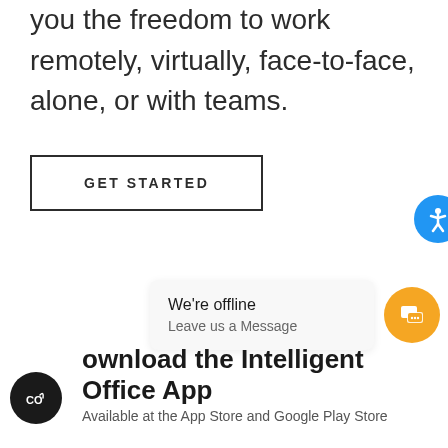you the freedom to work remotely, virtually, face-to-face, alone, or with teams.
GET STARTED
[Figure (other): Blue circular accessibility icon button on right edge]
[Figure (other): Chat popup bubble with 'We're offline' and 'Leave us a Message' text, with orange chat icon button]
[Figure (other): Black circular Copilot/CO icon button, bottom left]
ownload the Intelligent Office App
Available at the App Store and Google Play Store